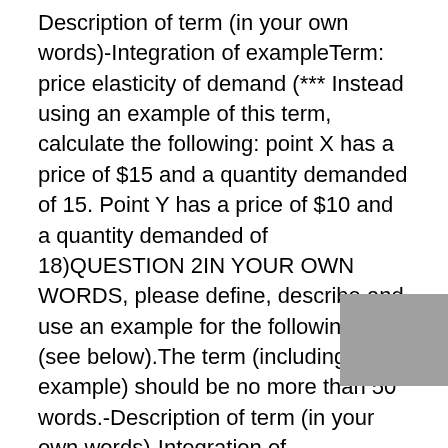Description of term (in your own words)-Integration of exampleTerm: price elasticity of demand (*** Instead using an example of this term, calculate the following: point X has a price of $15 and a quantity demanded of 15. Point Y has a price of $10 and a quantity demanded of 18)QUESTION 2IN YOUR OWN WORDS, please define, describe and use an example for the following term (see below).The term (including example) should be no more than 50 words.-Description of term (in your own words)-Integration of exampleTerm: Monopolistic CompetitionQUESTION 3IN YOUR OWN WORDS, please define, describe and use an example for the following term (see below).The term (including example) should be no more than 50 words.-Description of term (in your own words)-